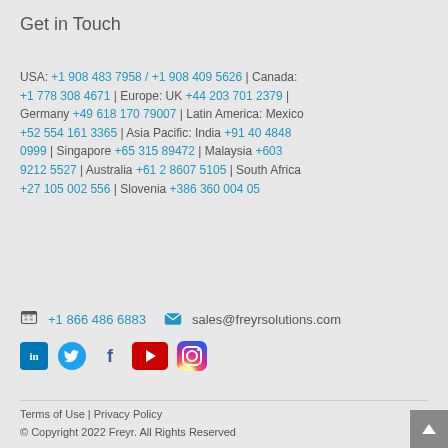Get in Touch
USA: +1 908 483 7958 / +1 908 409 5626 | Canada: +1 778 308 4671 | Europe: UK +44 203 701 2379 | Germany +49 618 170 79007 | Latin America: Mexico +52 554 161 3365 | Asia Pacific: India +91 40 4848 0999 | Singapore +65 315 89472 | Malaysia +603 9212 5527 | Australia +61 2 8607 5105 | South Africa +27 105 002 556 | Slovenia +386 360 004 05
+1 866 486 6883   sales@freyrsolutions.com
[Figure (other): Social media icons: LinkedIn, Twitter, Facebook, YouTube, Instagram]
Terms of Use | Privacy Policy
© Copyright 2022 Freyr. All Rights Reserved